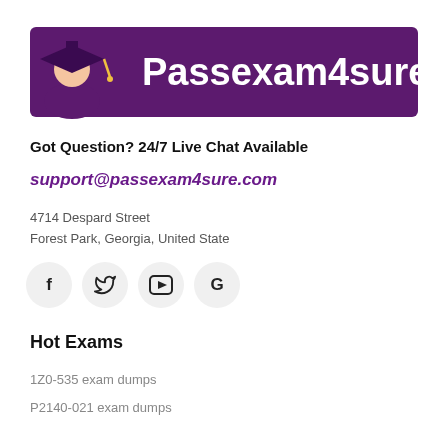[Figure (logo): Passexam4sure logo with graduation cap figure and purple banner with white bold text reading Passexam4sure]
Got Question? 24/7 Live Chat Available
support@passexam4sure.com
4714 Despard Street
Forest Park, Georgia, United State
[Figure (infographic): Social media icon buttons: Facebook (f), Twitter (bird), YouTube (play button), Google (G) — each in a light grey circle]
Hot Exams
1Z0-535 exam dumps
P2140-021 exam dumps